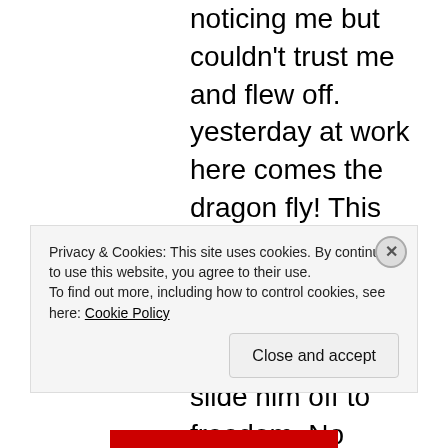noticing me but couldn't trust me and flew off. yesterday at work here comes the dragon fly! This time he circles me and lands on my forehead. I walk to the window and slide him off to freedom. No pictures but four witnesses who think I am the dragon fly whisperer. Communication with all living creatures is not only possible , it's impossible not to do.
Privacy & Cookies: This site uses cookies. By continuing to use this website, you agree to their use. To find out more, including how to control cookies, see here: Cookie Policy
Close and accept